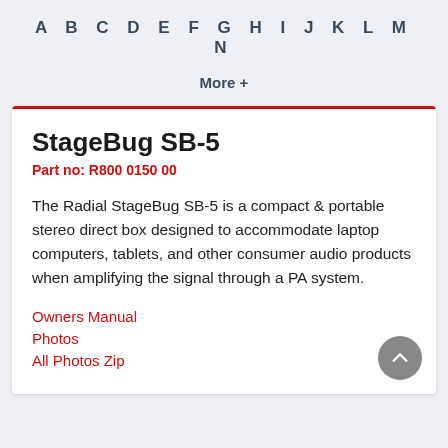A B C D E F G H I J K L M N
More +
StageBug SB-5
Part no: R800 0150 00
The Radial StageBug SB-5 is a compact & portable stereo direct box designed to accommodate laptop computers, tablets, and other consumer audio products when amplifying the signal through a PA system.
Owners Manual
Photos
All Photos Zip